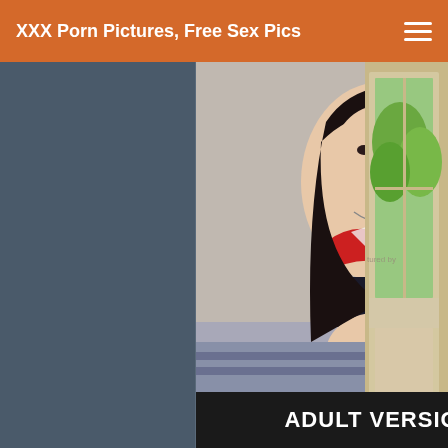XXX Porn Pictures, Free Sex Pics
[Figure (photo): Adult content photo showing a woman in red bikini top on a bed, with black clothing pulled down, holding a phone. Below the photo is a dark caption bar reading ADULT VERSION.]
[Figure (photo): Partial view of a window with green outdoor foliage visible through the glass, beige window frame on the right side of the page.]
ADULT VERSION